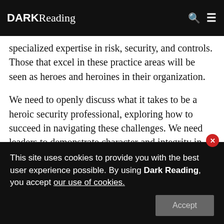DARK Reading
specialized expertise in risk, security, and controls. Those that excel in these practice areas will be seen as heroes and heroines in their organization.
We need to openly discuss what it takes to be a heroic security professional, exploring how to succeed in navigating these challenges. We need leaders to demonstrate character and integrity in taking a stand on tough issues with no air cover. They will often be required to make difficult, independent decisions and
This site uses cookies to provide you with the best user experience possible. By using Dark Reading, you accept our use of cookies.